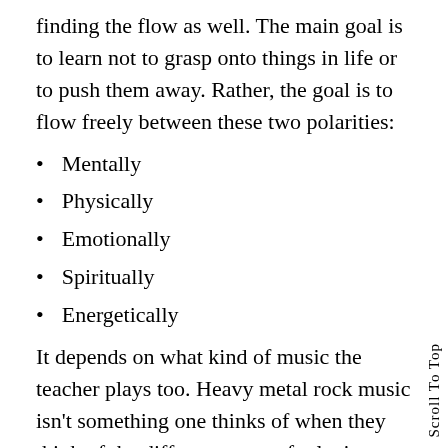finding the flow as well. The main goal is to learn not to grasp onto things in life or to push them away. Rather, the goal is to flow freely between these two polarities:
Mentally
Physically
Emotionally
Spiritually
Energetically
It depends on what kind of music the teacher plays too. Heavy metal rock music isn’t something one thinks of when they think of the different types of relaxing music. High-frequency tones are great because they help